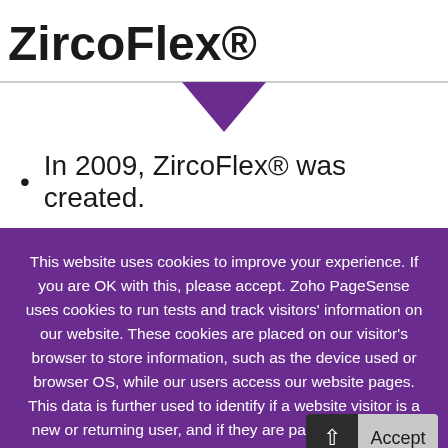ZircoFlex®
In 2009, ZircoFlex® was created.
This website uses cookies to improve your experience. If you are OK with this, please accept. Zoho PageSense uses cookies to run tests and track visitors' information on our website. These cookies are placed on our visitor's browser to store information, such as the device used or browser OS, while our users access our website pages. This data is further used to identify if a website visitor is a new or returning user, and if they are part of an A/B test, funnel analysis, heatmap, goals, or any other experiment t…